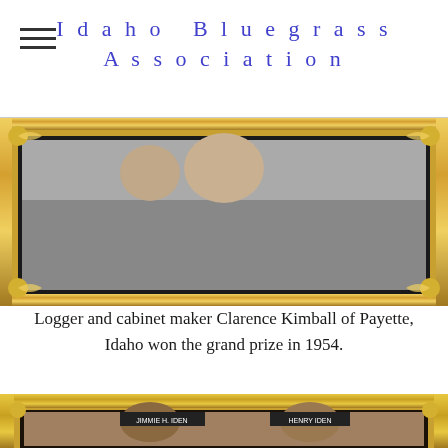Idaho Bluegrass Association
[Figure (photo): A framed vintage photograph with an ornate gold frame showing figures in the upper portion, partially cropped at the top of the page.]
Logger and cabinet maker Clarence Kimball of Payette, Idaho won the grand prize in 1954.
[Figure (photo): A sepia-toned framed photograph with gold frame showing musicians playing fiddles, with name placards reading 'JIMMIE H. IDEN' and 'HENRY IDEN'. A vintage microphone is visible on the right side.]